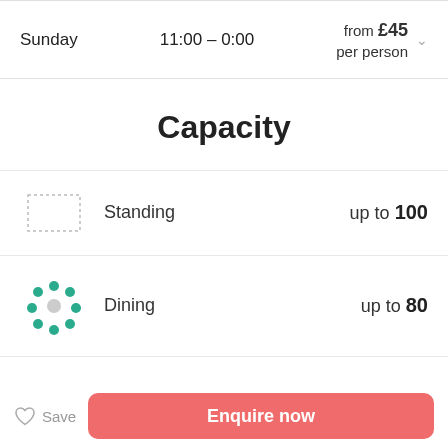Sunday   11:00 – 0:00   from £45 per person
Capacity
Standing   up to 100
Dining   up to 80
Theatre   up to 80
Save   Enquire now